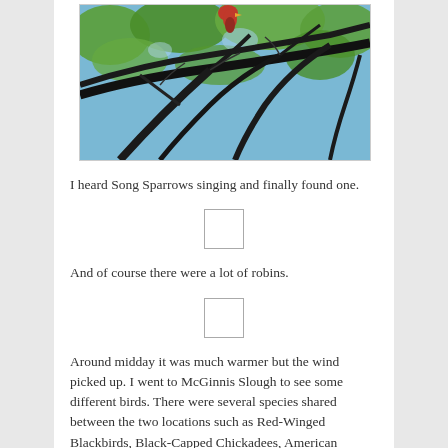[Figure (photo): A red bird (cardinal) perched on dark tree branches with green foliage in the background]
I heard Song Sparrows singing and finally found one.
[Figure (photo): Placeholder image box (Song Sparrow photo)]
And of course there were a lot of robins.
[Figure (photo): Placeholder image box (Robin photo)]
Around midday it was much warmer but the wind picked up. I went to McGinnis Slough to see some different birds. There were several species shared between the two locations such as Red-Winged Blackbirds, Black-Capped Chickadees, American Robins, Tree Swallows, House Finches and Mallards. Generally McGinnis has more water birds, although for the most part they are hard to photograph because they are usually too far away.